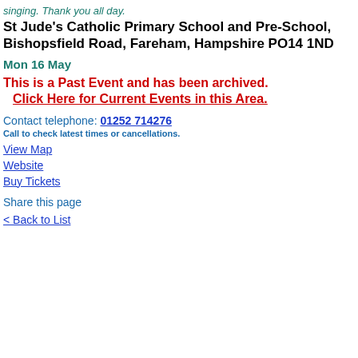singing. Thank you all day.
St Jude's Catholic Primary School and Pre-School, Bishopsfield Road, Fareham, Hampshire PO14 1ND
Mon 16 May
This is a Past Event and has been archived.
Click Here for Current Events in this Area.
Contact telephone: 01252 714276
Call to check latest times or cancellations.
View Map
Website
Buy Tickets
Share this page
< Back to List